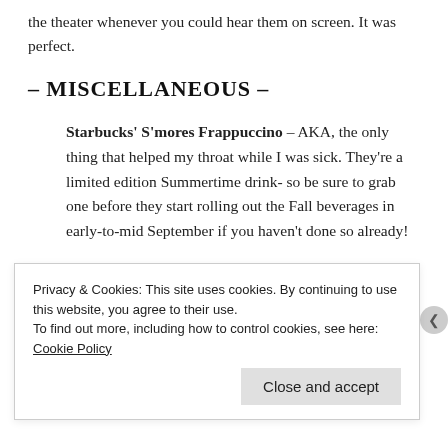the theater whenever you could hear them on screen. It was perfect.
– MISCELLANEOUS –
Starbucks' S'mores Frappuccino – AKA, the only thing that helped my throat while I was sick. They're a limited edition Summertime drink- so be sure to grab one before they start rolling out the Fall beverages in early-to-mid September if you haven't done so already!
And that just about does it for me today, guys. Like I said earlier- I'll have my full recap of July up and running this coming Wednesday before we swan dive into August. This month was a
Privacy & Cookies: This site uses cookies. By continuing to use this website, you agree to their use.
To find out more, including how to control cookies, see here: Cookie Policy